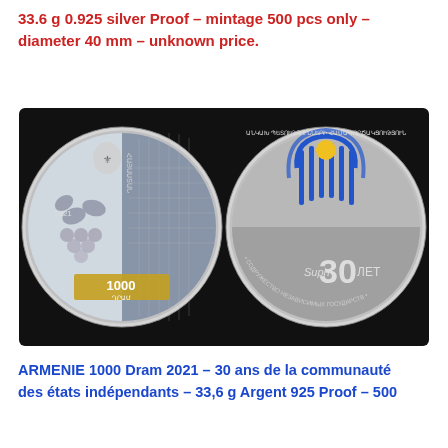33.6 g 0.925 silver Proof – mintage 500 pcs only – diameter 40 mm – unknown price.
[Figure (photo): Two sides of an Armenian 1000 Dram 2021 silver proof coin. Left coin shows obverse with Armenian coat of arms, vine/grape motifs, Armenian text, and '1000 ԴՐԱՄ'. Right coin shows reverse with the CIS logo (blue stylized figure with yellow sun), '30 ЛЕТ', 'Suph' text, and circular text in Armenian and Russian 'СОДРУЖЕСТВО НЕЗАВИСИМЫХ ГОСУДАРСТВ'.]
ARMENIE 1000 Dram 2021 – 30 ans de la communauté des états indépendants – 33,6 g Argent 925 Proof – 500